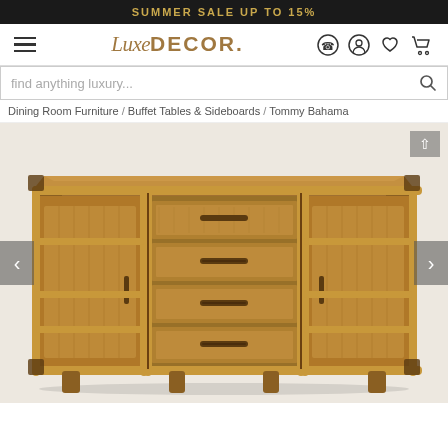SUMMER SALE UP TO 15%
[Figure (logo): LuxeDecor logo with script 'Luxe' and block 'DECOR.' text, plus navigation icons (phone, user, heart, cart)]
find anything luxury...
Dining Room Furniture / Buffet Tables & Sideboards / Tommy Bahama
[Figure (photo): Tommy Bahama bamboo-style sideboard buffet in warm brown finish with two side doors, four center drawers with decorative handles, bamboo trim accents and tapered legs]